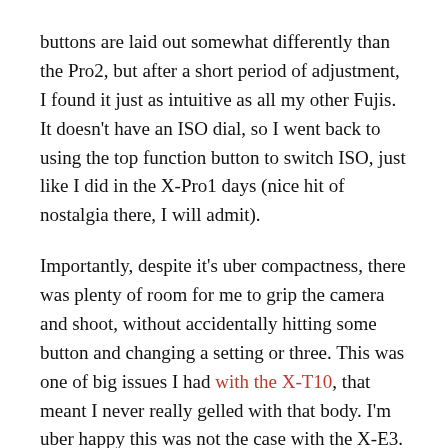buttons are laid out somewhat differently than the Pro2, but after a short period of adjustment, I found it just as intuitive as all my other Fujis. It doesn't have an ISO dial, so I went back to using the top function button to switch ISO, just like I did in the X-Pro1 days (nice hit of nostalgia there, I will admit).
Importantly, despite it's uber compactness, there was plenty of room for me to grip the camera and shoot, without accidentally hitting some button and changing a setting or three. This was one of big issues I had with the X-T10, that meant I never really gelled with that body. I'm uber happy this was not the case with the X-E3. I picked it up, started shooting, and pretty much forgot about the camera.
Auto-focus